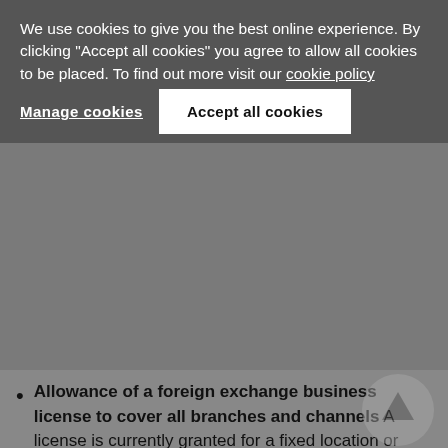We use cookies to give you the best online experience. By clicking "Accept all cookies" you agree to allow all cookies to be placed. To find out more visit our cookie policy
Manage cookies
Accept all cookies
Allowance of a foreign exchange business license to cover all branches and channels A license is currently granted for a fixed location or channel (i.e., one-to-one), which means each additional branch of business operations requires a separate license. Under the amendments, licenses will no longer be tied to a specific location or channel but will cover all locations of business operations (i.e., one-to-many). However, the new registration mode is one-to-one,